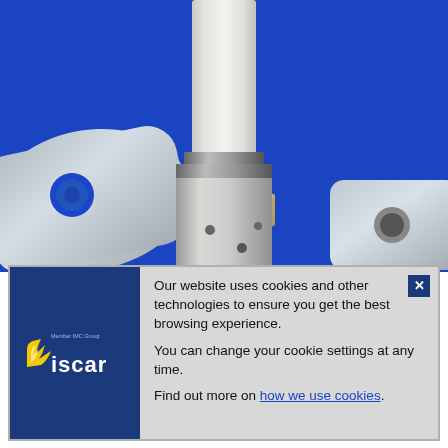[Figure (photo): Close-up photo of an Iscar machining tool (mill/drill) with silver body and blue background, surrounded by metallic machine parts and a hex nut]
Our website uses cookies and other technologies to ensure you get the best browsing experience.

You can change your cookie settings at any time.

Find out more on how we use cookies.
[Figure (logo): Iscar logo — Member IMC Group — yellow/white bird icon with blue ISCAR text on dark blue background]